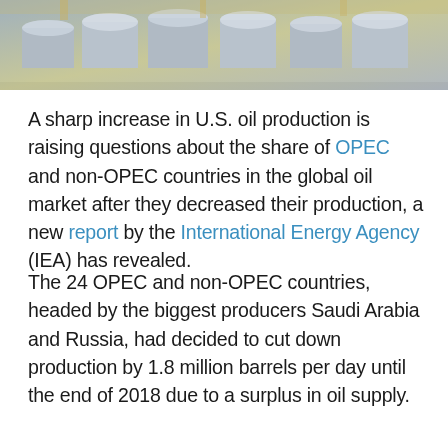[Figure (photo): Aerial or elevated view of large industrial oil storage tanks and refinery infrastructure]
A sharp increase in U.S. oil production is raising questions about the share of OPEC and non-OPEC countries in the global oil market after they decreased their production, a new report by the International Energy Agency (IEA) has revealed.
The 24 OPEC and non-OPEC countries, headed by the biggest producers Saudi Arabia and Russia, had decided to cut down production by 1.8 million barrels per day until the end of 2018 due to a surplus in oil supply.